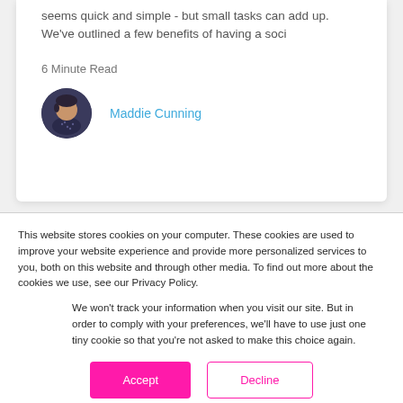seems quick and simple - but small tasks can add up. We've outlined a few benefits of having a soci
6 Minute Read
Maddie Cunning
This website stores cookies on your computer. These cookies are used to improve your website experience and provide more personalized services to you, both on this website and through other media. To find out more about the cookies we use, see our Privacy Policy.
We won't track your information when you visit our site. But in order to comply with your preferences, we'll have to use just one tiny cookie so that you're not asked to make this choice again.
Accept
Decline